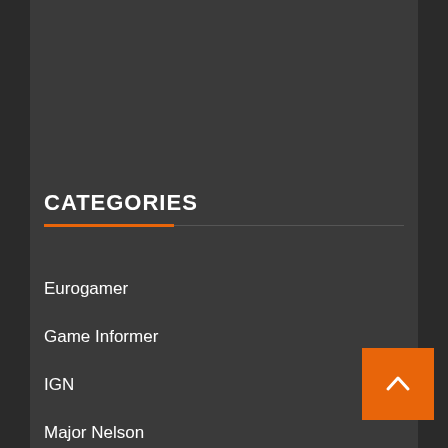CATEGORIES
Eurogamer
Game Informer
IGN
Major Nelson
My Nintendo News
Nintendo Life
Official Playstation